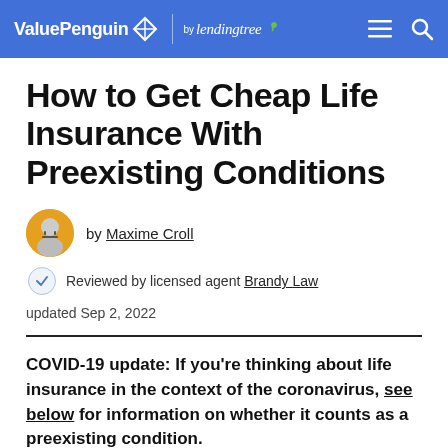ValuePenguin by lendingtree
How to Get Cheap Life Insurance With Preexisting Conditions
by Maxime Croll
Reviewed by licensed agent Brandy Law
updated Sep 2, 2022
COVID-19 update: If you're thinking about life insurance in the context of the coronavirus, see below for information on whether it counts as a preexisting condition.